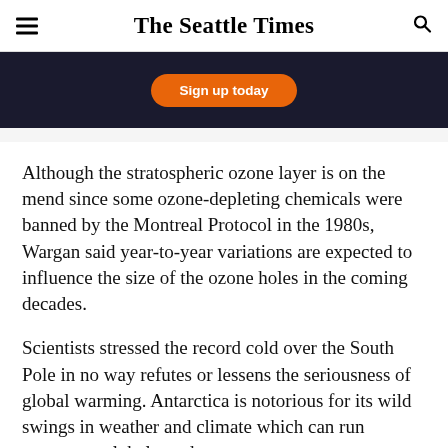The Seattle Times
[Figure (other): Advertisement banner with dark background and orange 'Sign up today' button]
Although the stratospheric ozone layer is on the mend since some ozone-depleting chemicals were banned by the Montreal Protocol in the 1980s, Wargan said year-to-year variations are expected to influence the size of the ozone holes in the coming decades.
Scientists stressed the record cold over the South Pole in no way refutes or lessens the seriousness of global warming. Antarctica is notorious for its wild swings in weather and climate which can run counter to global trends.